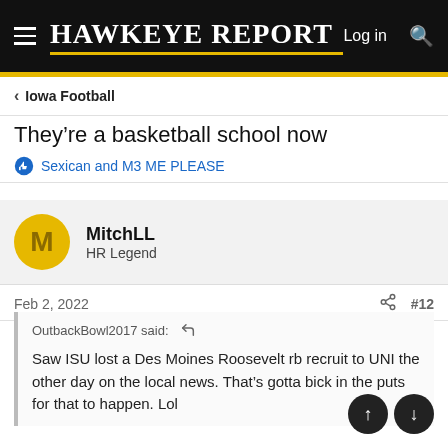HAWKEYE REPORT — Log in
Iowa Football
They're a basketball school now
Sexican and M3 ME PLEASE
MitchLL
HR Legend
Feb 2, 2022  #12
OutbackBowl2017 said:
Saw ISU lost a Des Moines Roosevelt rb recruit to UNI the other day on the local news. That's gotta be sick in the puts for that to happen. Lol